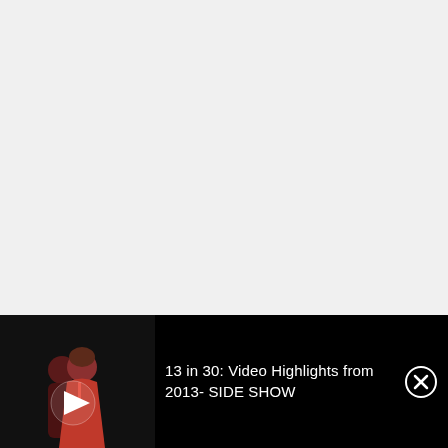[Figure (photo): Large white/light gray empty space occupying the top three-quarters of the page]
[Figure (screenshot): Video player bar with black background. Left side shows two women in red dresses on a dark stage with a white play button triangle overlay. Right side shows text '13 in 30: Video Highlights from 2013- SIDE SHOW' in white, and a circled X close button in the top right corner.]